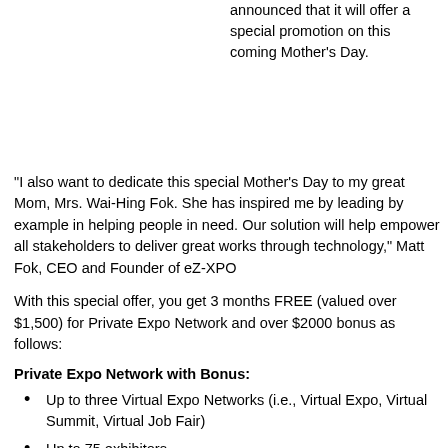announced that it will offer a special promotion on this coming Mother's Day.
“I also want to dedicate this special Mother's Day to my great Mom, Mrs. Wai-Hing Fok. She has inspired me by leading by example in helping people in need. Our solution will help empower all stakeholders to deliver great works through technology,” Matt Fok, CEO and Founder of eZ-XPO
With this special offer, you get 3 months FREE (valued over $1,500) for Private Expo Network and over $2000 bonus as follows:
Private Expo Network with Bonus:
Up to three Virtual Expo Networks (i.e., Virtual Expo, Virtual Summit, Virtual Job Fair)
Up to 75 exhibitors
Private Expo Network Exchange for more organic traffic
FREE Bonuses with over $2,000 monthly value